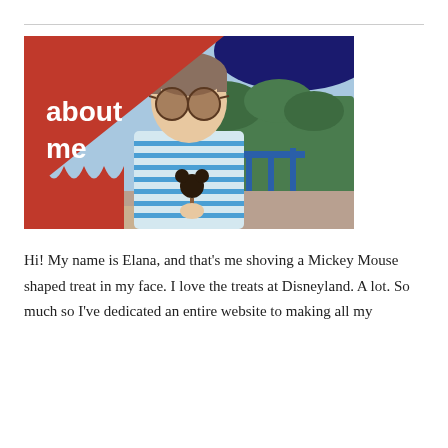[Figure (photo): A woman with short hair and large round sunglasses holding a Mickey Mouse shaped chocolate treat on a stick. She is wearing a blue and white striped shirt. In the background are blue railings, green plants, and colorful umbrellas. A red diagonal overlay in the top-left corner of the image has white bold text reading 'about me'.]
Hi! My name is Elana, and that's me shoving a Mickey Mouse shaped treat in my face. I love the treats at Disneyland. A lot. So much so I've dedicated an entire website to making all my